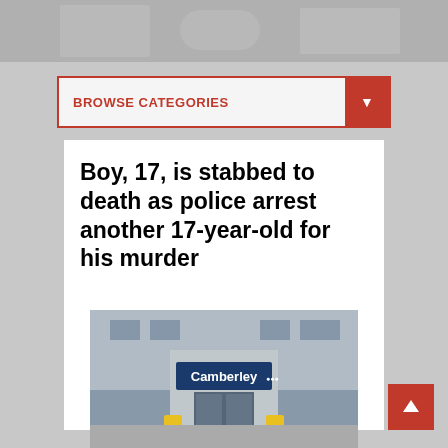[Figure (screenshot): Top banner area with gray background showing partial blurred image of vehicles]
BROWSE CATEGORIES
Boy, 17, is stabbed to death as police arrest another 17-year-old for his murder
[Figure (photo): Photo of Camberley train station entrance with blue sign reading 'Camberley']